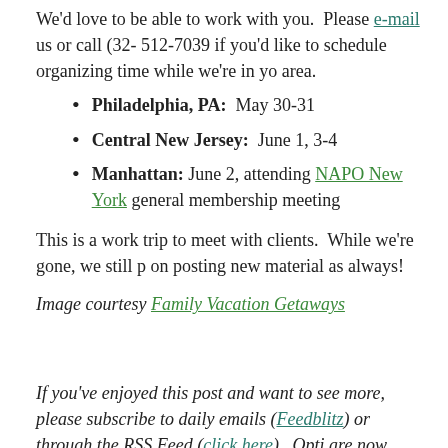We'd love to be able to work with you.  Please e-mail us or call (32- 512-7039 if you'd like to schedule organizing time while we're in yo area.
Philadelphia, PA:  May 30-31
Central New Jersey:  June 1, 3-4
Manhattan: June 2, attending NAPO New York general membership meeting
This is a work trip to meet with clients.  While we're gone, we still p on posting new material as always!
Image courtesy Family Vacation Getaways
If you've enjoyed this post and want to see more, please subscribe to daily emails (Feedblitz) or through the RSS Feed (click here).  Opti are now available for Twitter (Feedblitz) and your mobi through FEEDM8, too.